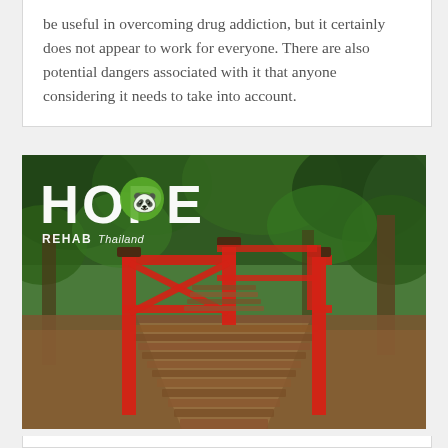be useful in overcoming drug addiction, but it certainly does not appear to work for everyone. There are also potential dangers associated with it that anyone considering it needs to take into account.
[Figure (photo): Photo of a red wooden bridge/walkway through a lush green tropical garden/forest path, with text overlay reading 'HOPE' in large white letters and 'REHAB Thailand' below it. This appears to be a logo/promotional image for Hope Rehab Thailand, a drug rehabilitation center.]